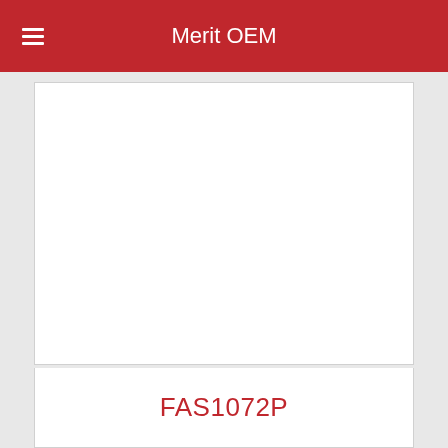Merit OEM
[Figure (photo): Product image area (blank white space for product photo)]
FAS1072P